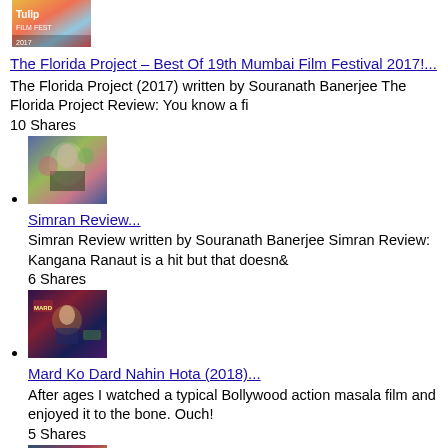[Figure (photo): Thumbnail image for The Florida Project article]
The Florida Project – Best Of 19th Mumbai Film Festival 2017!...
The Florida Project (2017) written by Souranath Banerjee The Florida Project Review: You know a fi
10 Shares
[Figure (photo): Thumbnail image for Simran Review article]
Simran Review...
Simran Review written by Souranath Banerjee Simran Review: Kangana Ranaut is a hit but that doesn&
6 Shares
[Figure (photo): Thumbnail image for Mard Ko Dard Nahin Hota article]
Mard Ko Dard Nahin Hota (2018)...
After ages I watched a typical Bollywood action masala film and enjoyed it to the bone. Ouch!
5 Shares
[Figure (photo): Thumbnail image for fourth article (partially visible)]